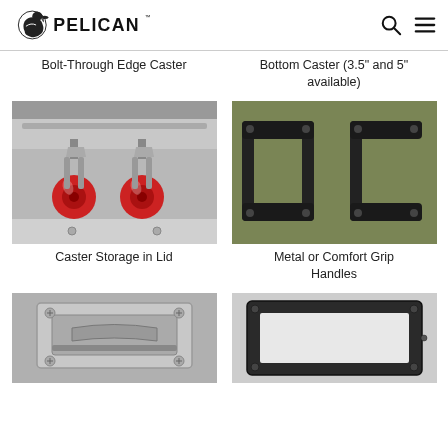PELICAN
Bolt-Through Edge Caster
Bottom Caster (3.5" and 5" available)
[Figure (photo): Close-up photo of two red bolt-through edge casters mounted on a silver metal rail]
Caster Storage in Lid
[Figure (photo): Close-up photo of black metal comfort grip handles on an olive green case]
Metal or Comfort Grip Handles
[Figure (photo): Close-up photo of a metal recessed handle on a gray surface]
[Figure (photo): Close-up photo of a dark framed rectangular window or nameplate on a gray case]